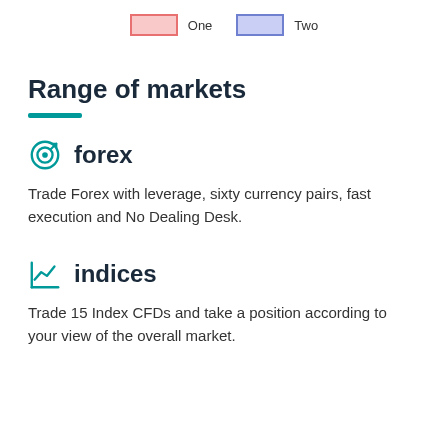[Figure (infographic): Legend with two colored boxes labeled 'One' (pink/red border) and 'Two' (blue/purple border)]
Range of markets
[Figure (infographic): Target/bullseye icon in teal representing forex]
forex
Trade Forex with leverage, sixty currency pairs, fast execution and No Dealing Desk.
[Figure (infographic): Line chart / trend arrow icon in teal representing indices]
indices
Trade 15 Index CFDs and take a position according to your view of the overall market.